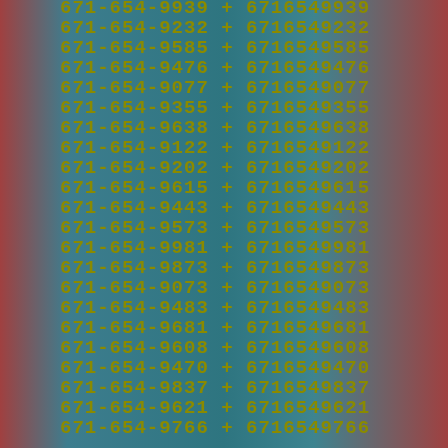671-654-9939 + 6716549939
671-654-9232 + 6716549232
671-654-9585 + 6716549585
671-654-9476 + 6716549476
671-654-9077 + 6716549077
671-654-9355 + 6716549355
671-654-9638 + 6716549638
671-654-9122 + 6716549122
671-654-9202 + 6716549202
671-654-9615 + 6716549615
671-654-9443 + 6716549443
671-654-9573 + 6716549573
671-654-9981 + 6716549981
671-654-9873 + 6716549873
671-654-9073 + 6716549073
671-654-9483 + 6716549483
671-654-9681 + 6716549681
671-654-9608 + 6716549608
671-654-9470 + 6716549470
671-654-9837 + 6716549837
671-654-9621 + 6716549621
671-654-9766 + 6716549766